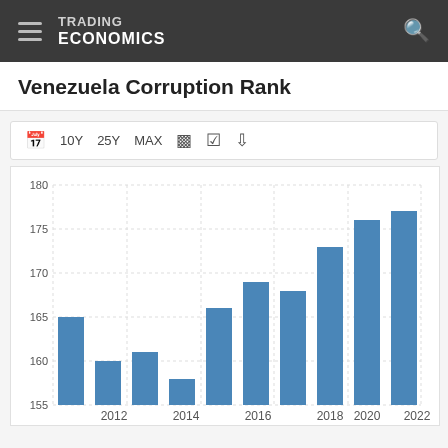TRADING ECONOMICS
Venezuela Corruption Rank
[Figure (bar-chart): Venezuela Corruption Rank]